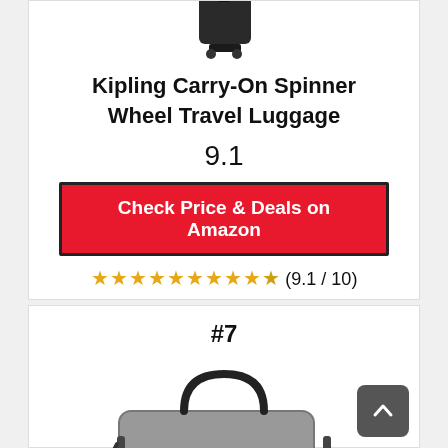[Figure (photo): Kipling carry-on spinner wheel travel luggage product image (partially visible at top)]
Kipling Carry-On Spinner Wheel Travel Luggage
9.1
Check Price & Deals on Amazon
★★★★★★★★★★ (9.1 / 10)
#7
[Figure (photo): Gray duffel/travel bag product image]